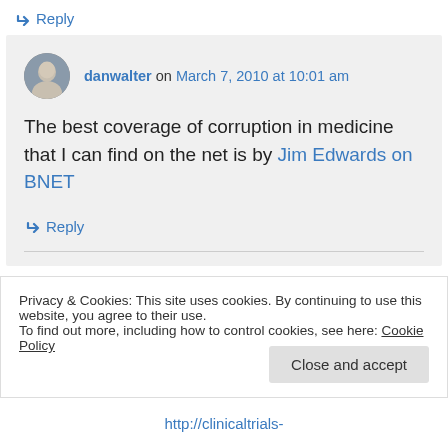↳ Reply
danwalter on March 7, 2010 at 10:01 am
The best coverage of corruption in medicine that I can find on the net is by Jim Edwards on BNET
↳ Reply
Privacy & Cookies: This site uses cookies. By continuing to use this website, you agree to their use.
To find out more, including how to control cookies, see here: Cookie Policy
Close and accept
http://clinicaltrials-